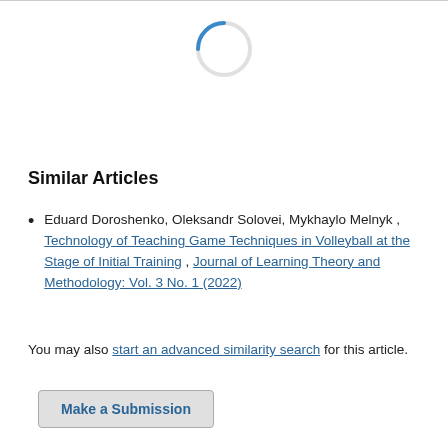[Figure (other): Loading spinner — circular arc in blue/grey indicating content loading]
Similar Articles
Eduard Doroshenko, Oleksandr Solovei, Mykhaylo Melnyk , Technology of Teaching Game Techniques in Volleyball at the Stage of Initial Training , Journal of Learning Theory and Methodology: Vol. 3 No. 1 (2022)
You may also start an advanced similarity search for this article.
Make a Submission